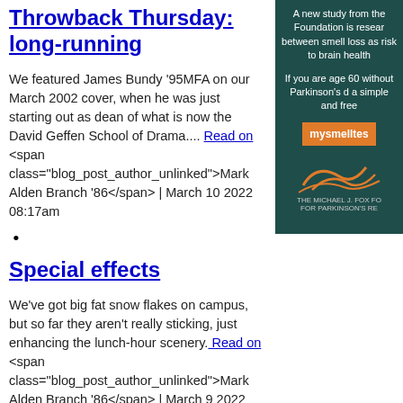Throwback Thursday: long-running
We featured James Bundy ’95MFA on our March 2002 cover, when he was just starting out as dean of what is now the David Geffen School of Drama.... Read on <span class="blog_post_author_unlinked">Mark Alden Branch ’86</span> | March 10 2022 08:17am
•
Special effects
We’ve got big fat snow flakes on campus, but so far they aren’t really sticking, just enhancing the lunch-hour scenery. Read on <span class="blog_post_author_unlinked">Mark Alden Branch ’86</span> | March 9 2022 12:47pm
•
[Figure (other): Michael J. Fox Foundation advertisement for Parkinson's smell test research study, with orange button labeled mysmelltes and foundation logo]